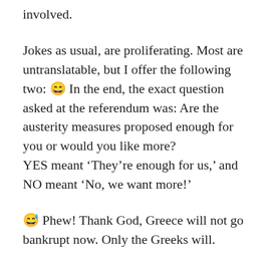involved.
Jokes as usual, are proliferating. Most are untranslatable, but I offer the following two: 😄 In the end, the exact question asked at the referendum was: Are the austerity measures proposed enough for you or would you like more?
YES meant ‘They’re enough for us,’ and NO meant ‘No, we want more!’
😅 Phew! Thank God, Greece will not go bankrupt now. Only the Greeks will.
August 16, 2015  /  2 Comments